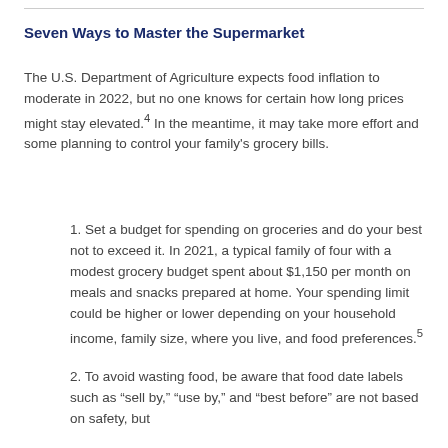Seven Ways to Master the Supermarket
The U.S. Department of Agriculture expects food inflation to moderate in 2022, but no one knows for certain how long prices might stay elevated.⁴ In the meantime, it may take more effort and some planning to control your family’s grocery bills.
1. Set a budget for spending on groceries and do your best not to exceed it. In 2021, a typical family of four with a modest grocery budget spent about $1,150 per month on meals and snacks prepared at home. Your spending limit could be higher or lower depending on your household income, family size, where you live, and food preferences.⁵
2. To avoid wasting food, be aware that food date labels such as “sell by,” “use by,” and “best before” are not based on safety, but